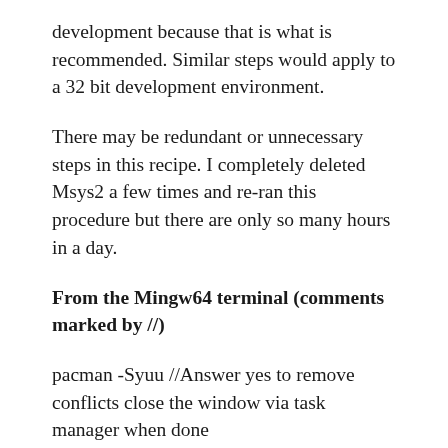development because that is what is recommended. Similar steps would apply to a 32 bit development environment.
There may be redundant or unnecessary steps in this recipe. I completely deleted Msys2 a few times and re-ran this procedure but there are only so many hours in a day.
From the Mingw64 terminal (comments marked by //)
pacman -Syuu //Answer yes to remove conflicts close the window via task manager when done